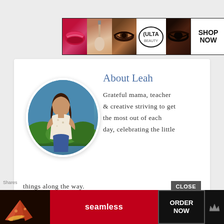[Figure (advertisement): Ulta Beauty banner ad with makeup images (lips, brush, eye) and 'SHOP NOW' button]
[Figure (infographic): About Leah section with circular photo of a woman, title 'About Leah', and bio text: 'Grateful mama, teacher & creative striving to get the most out of each day, celebrating the little things along the way.']
[Figure (advertisement): Seamless food delivery bottom banner ad with pizza image and 'ORDER NOW' button]